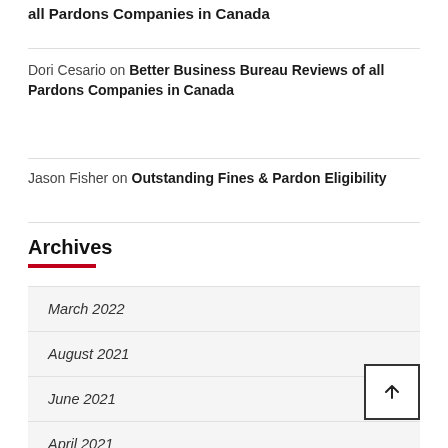all Pardons Companies in Canada
Dori Cesario on Better Business Bureau Reviews of all Pardons Companies in Canada
Jason Fisher on Outstanding Fines & Pardon Eligibility
Archives
March 2022
August 2021
June 2021
April 2021